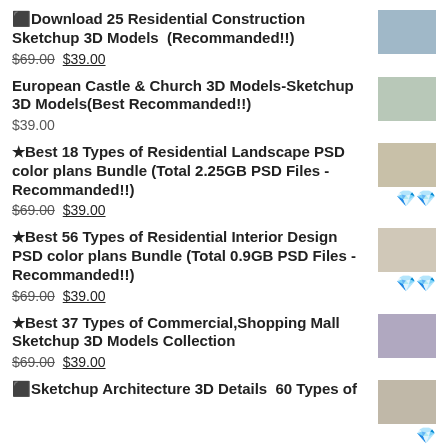⬛Download 25 Residential Construction Sketchup 3D Models  (Recommanded!!) $69.00 $39.00
European Castle & Church 3D Models-Sketchup 3D Models(Best Recommanded!!) $39.00
★Best 18 Types of Residential Landscape PSD color plans Bundle (Total 2.25GB PSD Files - Recommanded!!) $69.00 $39.00
★Best 56 Types of Residential Interior Design PSD color plans Bundle (Total 0.9GB PSD Files - Recommanded!!) $69.00 $39.00
★Best 37 Types of Commercial,Shopping Mall Sketchup 3D Models Collection $69.00 $39.00
⬛Sketchup Architecture 3D Details  60 Types of